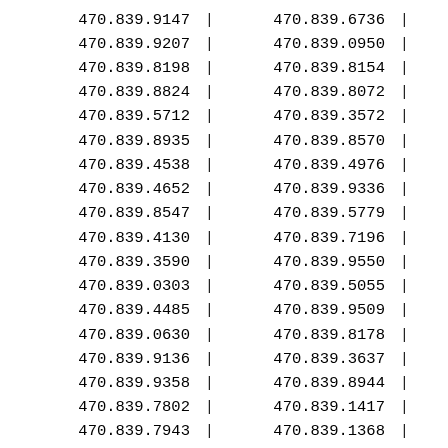| Col1 | Col2 |
| --- | --- |
| 470.839.9147 | 470.839.6736 |
| 470.839.9207 | 470.839.0950 |
| 470.839.8198 | 470.839.8154 |
| 470.839.8824 | 470.839.8072 |
| 470.839.5712 | 470.839.3572 |
| 470.839.8935 | 470.839.8570 |
| 470.839.4538 | 470.839.4976 |
| 470.839.4652 | 470.839.9336 |
| 470.839.8547 | 470.839.5779 |
| 470.839.4130 | 470.839.7196 |
| 470.839.3590 | 470.839.9550 |
| 470.839.0303 | 470.839.5055 |
| 470.839.4485 | 470.839.9509 |
| 470.839.0630 | 470.839.8178 |
| 470.839.9136 | 470.839.3637 |
| 470.839.9358 | 470.839.8944 |
| 470.839.7802 | 470.839.1417 |
| 470.839.7943 | 470.839.1368 |